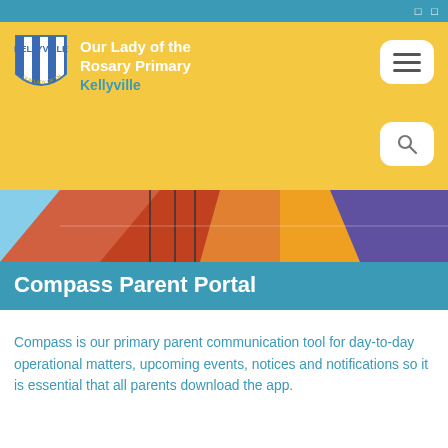Our Lady of the Rosary Primary Kellyville
[Figure (photo): School building exterior with colourful geometric roof panels — red, orange, yellow, purple — against a blue sky]
Compass Parent Portal
Compass is our primary parent communication tool for day-to-day operational matters, upcoming events, notices and notifications so it is essential that all parents download the app.